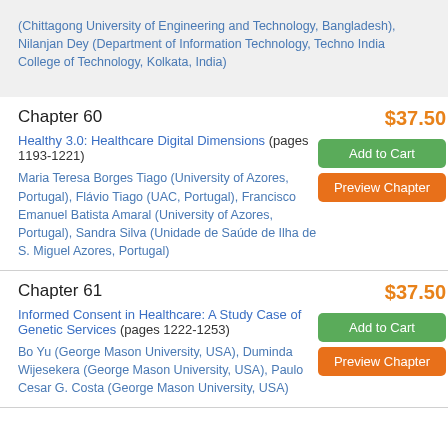(Chittagong University of Engineering and Technology, Bangladesh), Nilanjan Dey (Department of Information Technology, Techno India College of Technology, Kolkata, India)
Chapter 60
$37.50
Healthy 3.0: Healthcare Digital Dimensions (pages 1193-1221)
Add to Cart
Preview Chapter
Maria Teresa Borges Tiago (University of Azores, Portugal), Flávio Tiago (UAC, Portugal), Francisco Emanuel Batista Amaral (University of Azores, Portugal), Sandra Silva (Unidade de Saúde de Ilha de S. Miguel Azores, Portugal)
Chapter 61
$37.50
Informed Consent in Healthcare: A Study Case of Genetic Services (pages 1222-1253)
Add to Cart
Preview Chapter
Bo Yu (George Mason University, USA), Duminda Wijesekera (George Mason University, USA), Paulo Cesar G. Costa (George Mason University, USA)